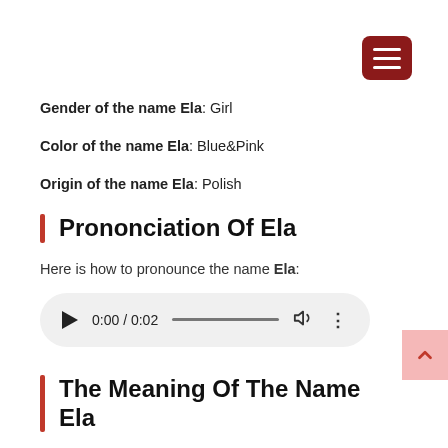[Figure (other): Dark red hamburger menu button in top right corner]
Gender of the name Ela: Girl
Color of the name Ela: Blue&Pink
Origin of the name Ela: Polish
Prononciation Of Ela
Here is how to pronounce the name Ela:
[Figure (other): Audio player showing 0:00 / 0:02 with play button, progress bar, volume icon, and more options dots]
The Meaning Of The Name Ela
[Figure (other): Pink scroll-to-top button on right side with upward chevron]